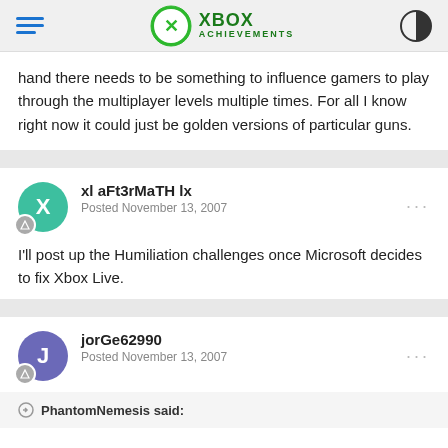XBOX ACHIEVEMENTS
hand there needs to be something to influence gamers to play through the multiplayer levels multiple times. For all I know right now it could just be golden versions of particular guns.
xl aFt3rMaTH lx
Posted November 13, 2007
I'll post up the Humiliation challenges once Microsoft decides to fix Xbox Live.
jorGe62990
Posted November 13, 2007
PhantomNemesis said: